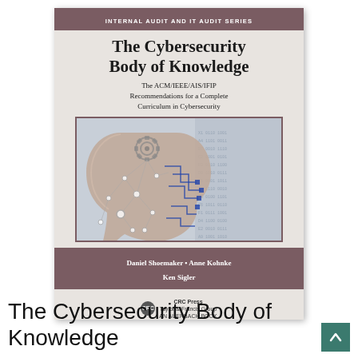[Figure (illustration): Book cover for 'The Cybersecurity Body of Knowledge: The ACM/IEEE/AIS/IFIP Recommendations for a Complete Curriculum in Cybersecurity' by Daniel Shoemaker, Anne Kohnke, Ken Sigler. Published by CRC Press, Auerbach Book. Part of the Internal Audit and IT Audit Series. Features a digital human head with circuit board and network node overlays.]
The Cybersecurity Body of Knowledge